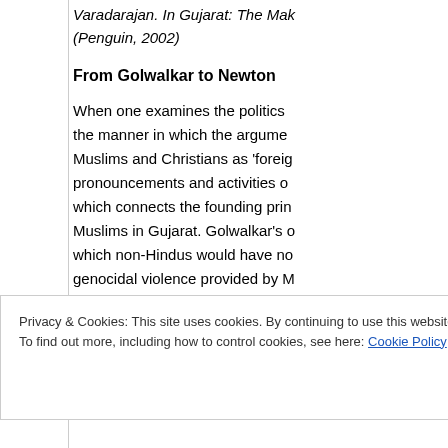Varadarajan. In Gujarat: The Mak… (Penguin, 2002)
From Golwalkar to Newton
When one examines the politics the manner in which the argume Muslims and Christians as 'foreig pronouncements and activities o which connects the founding prin Muslims in Gujarat. Golwalkar's o which non-Hindus would have no genocidal violence provided by M Vajpayee's sweeping attack on M in April are all part of the same c
Privacy & Cookies: This site uses cookies. By continuing to use this website, you agree to their use.
To find out more, including how to control cookies, see here: Cookie Policy
Close and accept